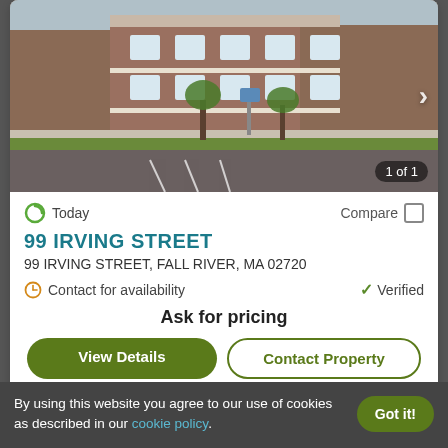[Figure (photo): Exterior photo of a brick apartment building at 99 Irving Street with parking lot and landscaping in the foreground. Shows '1 of 1' counter and right arrow navigation.]
Today
Compare
99 IRVING STREET
99 IRVING STREET, FALL RIVER, MA 02720
Contact for availability
Verified
Ask for pricing
View Details
Contact Property
By using this website you agree to our use of cookies as described in our cookie policy.
Got it!